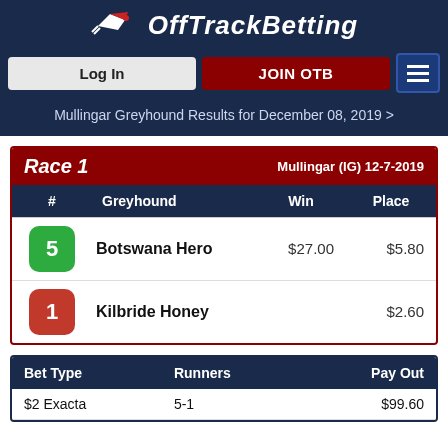OffTrackBetting — Log In | JOIN OTB
Mullingar Greyhound Results for December 08, 2019 >
| Race 1 | Mullingar (IG) 12-7-2019 |  |  |
| --- | --- | --- | --- |
| # | Greyhound | Win | Place |
| 5 | Botswana Hero | $27.00 | $5.80 |
| 1 | Kilbride Honey |  | $2.60 |
| Bet Type | Runners | Pay Out |
| --- | --- | --- |
| $2 Exacta | 5-1 | $99.60 |